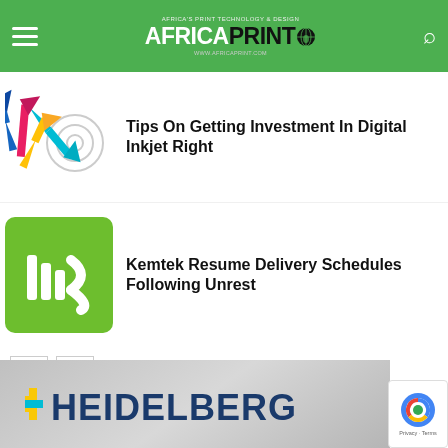AFRICA PRINT - Africa's Print Technology & Design
Tips On Getting Investment In Digital Inkjet Right
Kemtek Resume Delivery Schedules Following Unrest
[Figure (logo): Heidelberg logo on grey background]
[Figure (logo): reCAPTCHA badge - Privacy - Terms]